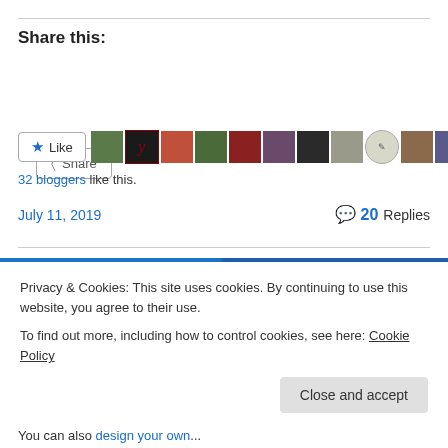Share this:
[Figure (screenshot): Share button with share icon]
[Figure (screenshot): Like button with star icon and avatar thumbnails of bloggers who liked the post]
32 bloggers like this.
July 11, 2019    💬 20 Replies
Privacy & Cookies: This site uses cookies. By continuing to use this website, you agree to their use. To find out more, including how to control cookies, see here: Cookie Policy
Close and accept
You can also design your own ...